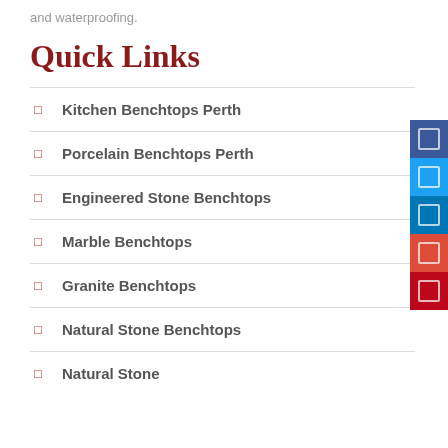and waterproofing.
Quick Links
Kitchen Benchtops Perth
Porcelain Benchtops Perth
Engineered Stone Benchtops
Marble Benchtops
Granite Benchtops
Natural Stone Benchtops
Natural Stone